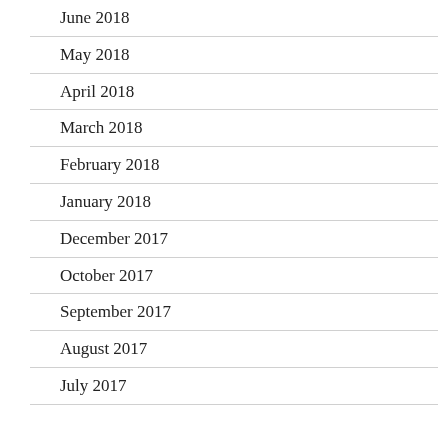June 2018
May 2018
April 2018
March 2018
February 2018
January 2018
December 2017
October 2017
September 2017
August 2017
July 2017